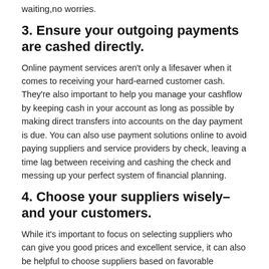waiting,no worries.
3. Ensure your outgoing payments are cashed directly.
Online payment services aren't only a lifesaver when it comes to receiving your hard-earned customer cash. They're also important to help you manage your cashflow by keeping cash in your account as long as possible by making direct transfers into accounts on the day payment is due. You can also use payment solutions online to avoid paying suppliers and service providers by check, leaving a time lag between receiving and cashing the check and messing up your perfect system of financial planning.
4. Choose your suppliers wisely–and your customers.
While it's important to focus on selecting suppliers who can give you good prices and excellent service, it can also be helpful to choose suppliers based on favorable payment terms, giving you that all-important breathing space before the invoice is due. On the flipside, make sure to do your due diligence when selecting customers on a credit basis–do careful credit checks, and install a